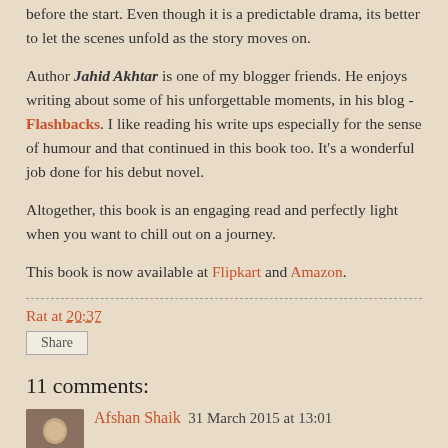before the start. Even though it is a predictable drama, its better to let the scenes unfold as the story moves on.
Author Jahid Akhtar is one of my blogger friends. He enjoys writing about some of his unforgettable moments, in his blog - Flashbacks. I like reading his write ups especially for the sense of humour and that continued in this book too. It's a wonderful job done for his debut novel.
Altogether, this book is an engaging read and perfectly light when you want to chill out on a journey.
This book is now available at Flipkart and Amazon.
Rat at 20:37
Share
11 comments:
Afshan Shaik  31 March 2015 at 13:01